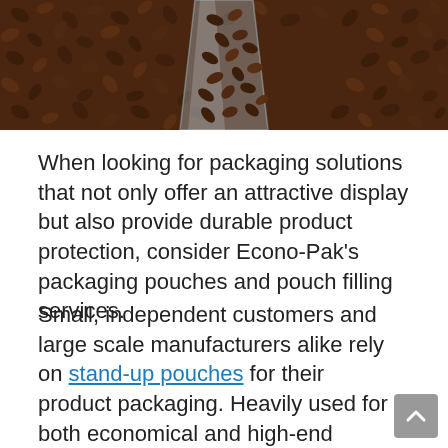[Figure (photo): Partial photo showing coffee beans spilling from a clear bag, viewed from above, with a pile of coffee beans surrounding it. Only the bottom portion of the image is visible.]
When looking for packaging solutions that not only offer an attractive display but also provide durable product protection, consider Econo-Pak's packaging pouches and pouch filling services.
Small, independent customers and large scale manufacturers alike rely on stand-up pouches for their product packaging. Heavily used for both economical and high-end products, pouches accommodate almost every type of filling ranging from candy to exotic foods.